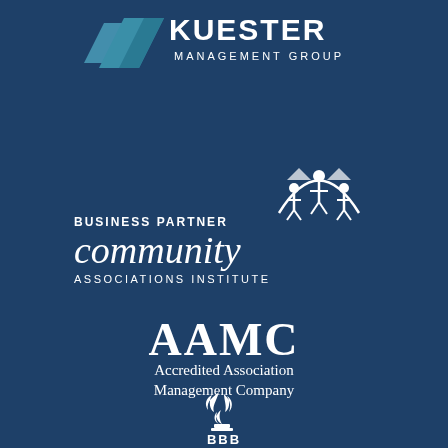[Figure (logo): Kuester Management Group logo with teal/blue arrow icon and white text on dark navy background]
[Figure (logo): Community Associations Institute Business Partner logo with white icon of people/houses and white text reading BUSINESS PARTNER community ASSOCIATIONS INSTITUTE]
[Figure (logo): AAMC Accredited Association Management Company logo in white text on dark navy background]
[Figure (logo): BBB Better Business Bureau logo with white torch/flame icon on dark navy background]